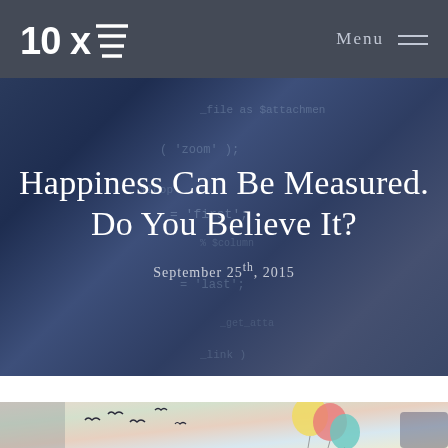10x [logo] | Menu
Happiness Can Be Measured. Do You Believe It?
September 25th, 2015
[Figure (photo): Colorful photo of birds flying and pastel balloons against a warm sky background]